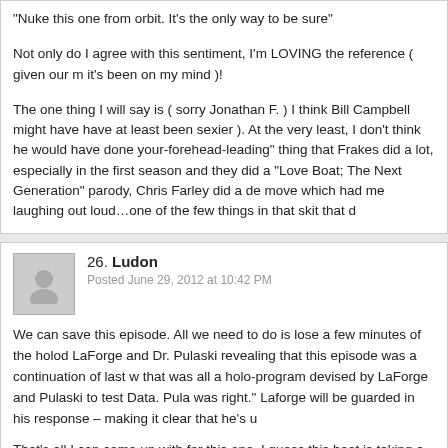"Nuke this one from orbit. It's the only way to be sure"

Not only do I agree with this sentiment, I'm LOVING the reference ( given our m it's been on my mind )!

The one thing I will say is ( sorry Jonathan F. ) I think Bill Campbell might have have at least been sexier ). At the very least, I don't think he would have done your-forehead-leading" thing that Frakes did a lot, especially in the first season and they did a "Love Boat; The Next Generation" parody, Chris Farley did a de move which had me laughing out loud…one of the few things in that skit that d
26. Ludon
Posted June 29, 2012 at 10:42 PM

We can save this episode. All we need to do is lose a few minutes of the holod LaForge and Dr. Pulaski revealing that this episode was a continuation of last w that was all a holo-program devised by LaForge and Pulaski to test Data. Pula was right." Laforge will be guarded in his response – making it clear that he's u

That's all I can come up with for this one. I guess this heat is taking a lot out of
27. Torie Atkinson